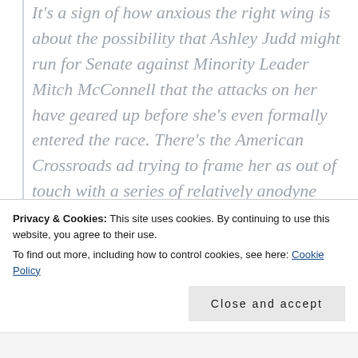It's a sign of how anxious the right wing is about the possibility that Ashley Judd might run for Senate against Minority Leader Mitch McConnell that the attacks on her have geared up before she's even formally entered the race. There's the American Crossroads ad trying to frame her as out of touch with a series of relatively anodyne and contextless quotations. And now, the Daily Caller, which has been trying to frame
Privacy & Cookies: This site uses cookies. By continuing to use this website, you agree to their use.
To find out more, including how to control cookies, see here: Cookie Policy
Close and accept
...literally a thin left-to-the-page...